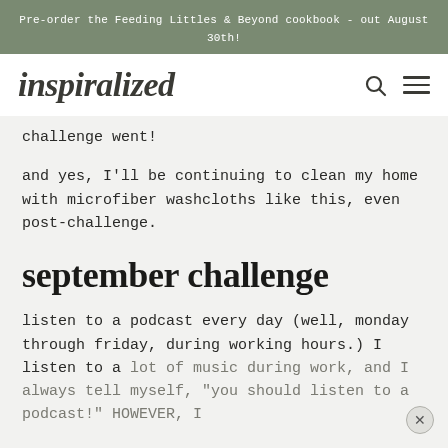Pre-order the Feeding Littles & Beyond cookbook - out August 30th!
inspiralized
challenge went!
and yes, I'll be continuing to clean my home with microfiber washcloths like this, even post-challenge.
september challenge
listen to a podcast every day (well, monday through friday, during working hours.) I listen to a lot of music during work, and I always tell myself, "you should listen to a podcast!" HOWEVER, I